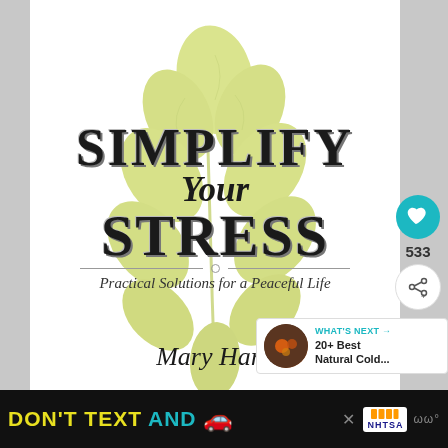[Figure (illustration): Book cover illustration: large pale yellow-green leaf/plant branch spanning the background behind the title text]
SIMPLIFY Your STRESS
Practical Solutions for a Peaceful Life
Mary Harn
[Figure (infographic): Heart/like button (teal circle with heart icon), count 533, and share button on right sidebar]
533
[Figure (infographic): What's Next panel with thumbnail image and text: WHAT'S NEXT → 20+ Best Natural Cold...]
WHAT'S NEXT → 20+ Best Natural Cold...
[Figure (infographic): Ad banner at bottom: DON'T TEXT AND [car emoji] with ad/NHTSA logo and close button]
DON'T TEXT AND 🚗